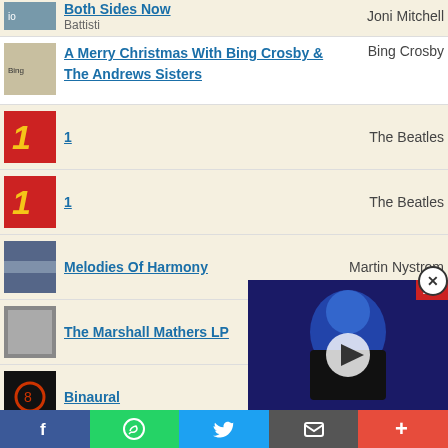Both Sides Now - Joni Mitchell / Battisti
A Merry Christmas With Bing Crosby & The Andrews Sisters - Bing Crosby
1 - The Beatles
1 - The Beatles
Melodies Of Harmony - Martin Nystrom
The Marshall Mathers LP - Eminem
Binaural - Pearl Jam
Estopa - Estopa
1 - The Beatles
El Viaje de Copperpot
No Strings Attached
[Figure (screenshot): Video overlay showing a person in dark clothing, with play button, badge showing '2', close button (X)]
Social sharing bar: Facebook, WhatsApp, Twitter, Email, More